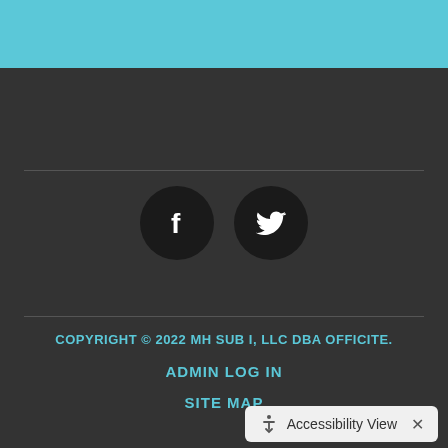[Figure (illustration): Teal/light blue horizontal bar at the top of the page]
[Figure (illustration): Dark gray footer section with Facebook and Twitter social media icons in black circles, two horizontal dividers, copyright text, admin log in link, site map link, and an accessibility view button]
COPYRIGHT © 2022 MH SUB I, LLC DBA OFFICITE.
ADMIN LOG IN
SITE MAP